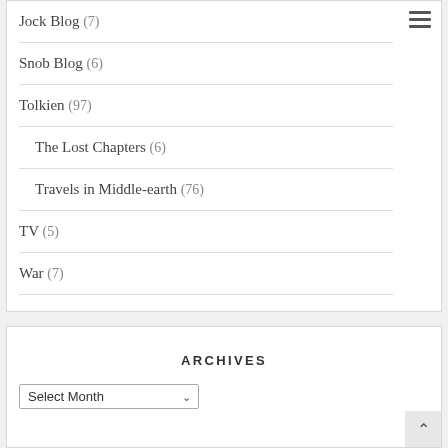Jock Blog (7)
Snob Blog (6)
Tolkien (97)
The Lost Chapters (6)
Travels in Middle-earth (76)
TV (5)
War (7)
ARCHIVES
Select Month